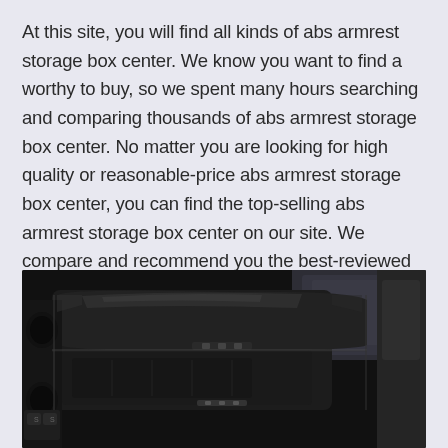At this site, you will find all kinds of abs armrest storage box center. We know you want to find a worthy to buy, so we spent many hours searching and comparing thousands of abs armrest storage box center. No matter you are looking for high quality or reasonable-price abs armrest storage box center, you can find the top-selling abs armrest storage box center on our site. We compare and recommend you the best-reviewed abs armrest storage box center.
[Figure (photo): Close-up photo of a black car interior armrest storage box center console with a flip-open lid, cup holders on the left, and control buttons visible. Dark, glossy plastic surfaces in a modern vehicle interior.]